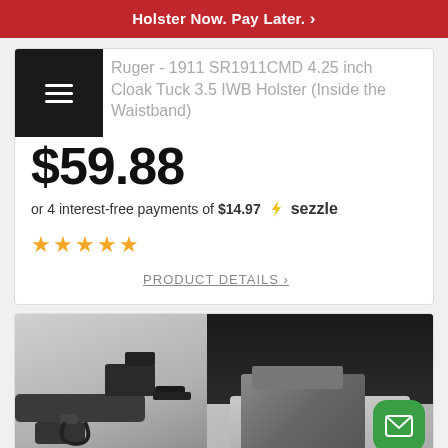Holster Now. Pay Later. >
Ruger - 1911 SR1911CMD 4.25 inch Cloak Tuck 3.5 IWB Holster (Inside the Waistband)
$59.88
or 4 interest-free payments of $14.97  sezzle
★★★★★
PRODUCT DETAILS >
[Figure (photo): Product image showing a gun holster - left side shows dark firearm, right side shows holster worn on waistband with a green mail/chat button overlay]